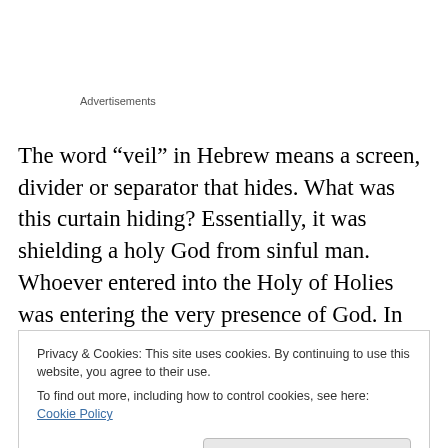Advertisements
The word “veil” in Hebrew means a screen, divider or separator that hides. What was this curtain hiding? Essentially, it was shielding a holy God from sinful man. Whoever entered into the Holy of Holies was entering the very presence of God. In fact, anyone except the high priest who entered the Holy of Holies would die. Even the
Privacy & Cookies: This site uses cookies. By continuing to use this website, you agree to their use.
To find out more, including how to control cookies, see here: Cookie Policy
Close and accept
The picture of the veil was that of a barrier between man